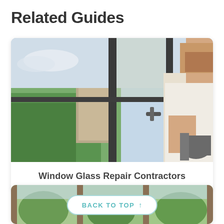Related Guides
[Figure (photo): A person wearing a white t-shirt and gray work gloves installing or repairing a large sliding glass window/door from the outside, with a view of green trees and a building in the background.]
Window Glass Repair Contractors
[Figure (photo): Partial view of a window scene with green outdoor scenery visible through glass panels with frames.]
BACK TO TOP ↑